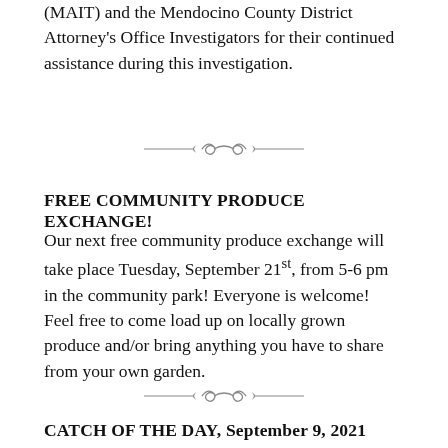(MAIT) and the Mendocino County District Attorney's Office Investigators for their continued assistance during this investigation.
[Figure (illustration): Decorative divider ornament — a scrollwork flourish line]
FREE COMMUNITY PRODUCE EXCHANGE!
Our next free community produce exchange will take place Tuesday, September 21st, from 5-6 pm in the community park! Everyone is welcome! Feel free to come load up on locally grown produce and/or bring anything you have to share from your own garden.
[Figure (illustration): Decorative divider ornament — a scrollwork flourish line]
CATCH OF THE DAY, September 9, 2021